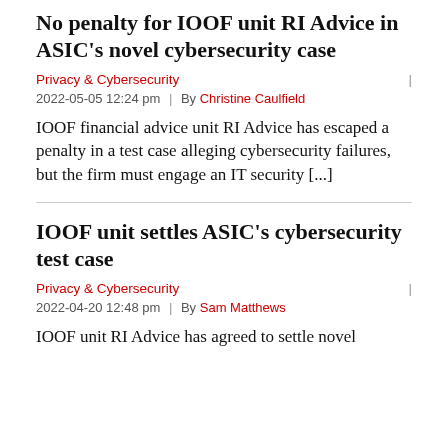No penalty for IOOF unit RI Advice in ASIC's novel cybersecurity case
Privacy & Cybersecurity  |  2022-05-05 12:24 pm  |  By Christine Caulfield
IOOF financial advice unit RI Advice has escaped a penalty in a test case alleging cybersecurity failures, but the firm must engage an IT security [...]
IOOF unit settles ASIC's cybersecurity test case
Privacy & Cybersecurity  |  2022-04-20 12:48 pm  |  By Sam Matthews
IOOF unit RI Advice has agreed to settle novel